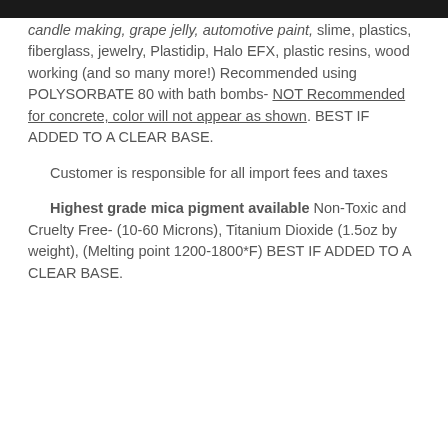candle making, grape jelly, automotive paint, slime, plastics, fiberglass, jewelry, Plastidip, Halo EFX, plastic resins, wood working (and so many more!) Recommended using POLYSORBATE 80 with bath bombs- NOT Recommended for concrete, color will not appear as shown. BEST IF ADDED TO A CLEAR BASE.
Customer is responsible for all import fees and taxes
Highest grade mica pigment available Non-Toxic and Cruelty Free- (10-60 Microns), Titanium Dioxide (1.5oz by weight), (Melting point 1200-1800*F) BEST IF ADDED TO A CLEAR BASE.